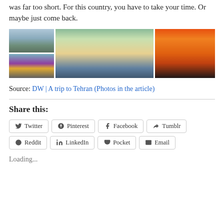was far too short. For this country, you have to take your time. Or maybe just come back.
[Figure (photo): A collage of four travel photos: city skyline, tourists photographing a building, a bus/street scene, and a dramatic orange sunset skyline.]
Source: DW | A trip to Tehran (Photos in the article)
Share this:
Twitter  Pinterest  Facebook  Tumblr  Reddit  LinkedIn  Pocket  Email
Loading...